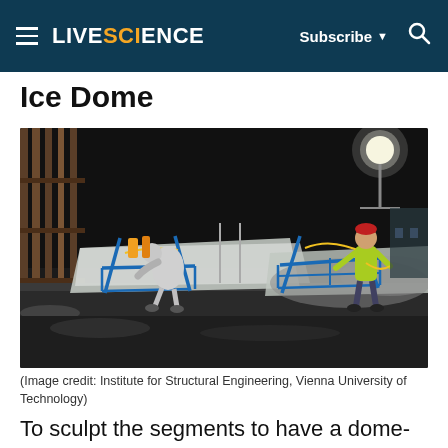LIVESCIENCE | Subscribe | Search
Ice Dome
[Figure (photo): Two workers in winter gear operating blue metal frame equipment on large ice/snow blocks at night under bright artificial lighting outdoors. Tools and machinery visible on a sawhorse-type frame.]
(Image credit: Institute for Structural Engineering, Vienna University of Technology)
To sculpt the segments to have a dome-like curve, the